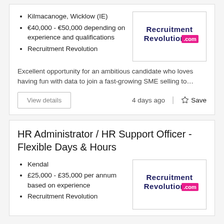Kilmacanoge, Wicklow (IE)
€40,000 - €50,000 depending on experience and qualifications
Recruitment Revolution
[Figure (logo): Recruitment Revolution .com logo]
Excellent opportunity for an ambitious candidate who loves having fun with data to join a fast-growing SME selling to…
View details
4 days ago
Save
HR Administrator / HR Support Officer - Flexible Days & Hours
Kendal
£25,000 - £35,000 per annum based on experience
Recruitment Revolution
[Figure (logo): Recruitment Revolution .com logo]